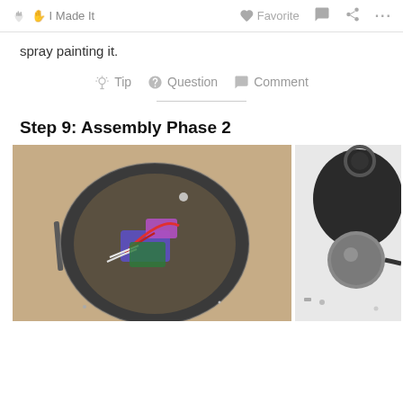✋ I Made It   ♥ Favorite  💬  ⋮⋮⋮
spray painting it.
💡 Tip  ❓ Question  💬 Comment
Step 9: Assembly Phase 2
[Figure (photo): Top-down view of a round painted bowl/container with electronics, wires (red, white), a purple piece and blue component inside, sitting on a wooden surface.]
[Figure (photo): Partial view of a dark round object with a spherical component, on a light background with small objects around.]